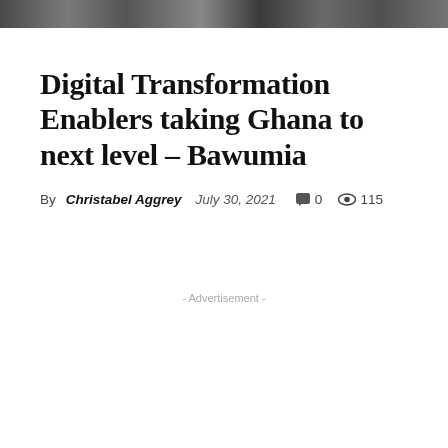[Figure (photo): Partial photo strip at top of page showing people]
Digital Transformation Enablers taking Ghana to next level – Bawumia
By Christabel Aggrey  July 30, 2021  🗨 0  👁 115
- Advertisement -